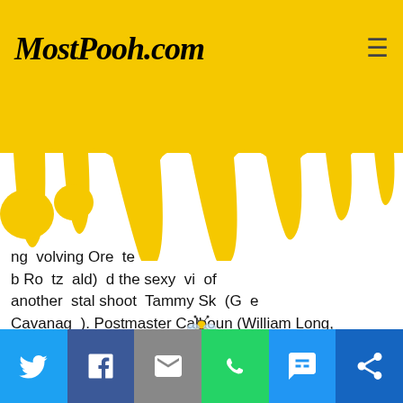MostPooh.com
[Figure (illustration): Yellow honey drip / honey banner illustration covering top portion of page]
ng volving Ore te b Ro tz ald) d the sexy vi of another stal shoot Tammy Sk (G e Cavanag ). Postmaster Calhoun (William Long, Jr.) is driving the staff nuts by constantly micro monitoring their bathroom breaks. Something has got to give and its not the timely delivery of the U.S. mail.
[Figure (illustration): Small bee emoji/icon]
Social share bar: Twitter, Facebook, Email, WhatsApp, SMS, Share